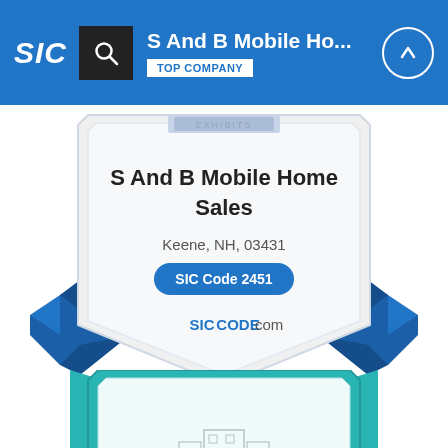S And B Mobile Ho... TOP COMPANY
[Figure (illustration): Blue shield/badge award graphic with ribbons containing company info: S And B Mobile Home Sales, Keene, NH, 03431, SIC Code 2451, SICCODE.com]
S And B Mobile Home Sales
Keene, NH, 03431
SIC Code 2451
SICCODE.com
[Figure (illustration): Partial teal/blue shield badge with building/city icon at bottom of page]